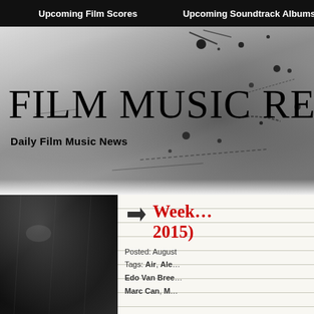Upcoming Film Scores   Upcoming Soundtrack Albums
[Figure (photo): Film Music Reporter website banner with distressed, textured black-and-white background with ink splatters and scratches. Large serif text reads 'FILM MUSIC REPO' (cut off) with subtitle 'Daily Film Music News'.]
FILM MUSIC REPO
Daily Film Music News
[Figure (photo): Dark black-and-white photo with heavy grain and scratches, appears to be a distressed film still or texture image used as article thumbnail.]
Week... 2015)
Posted: August
Tags: Air, Ale... Edo Van Bree... Marc Can, M...